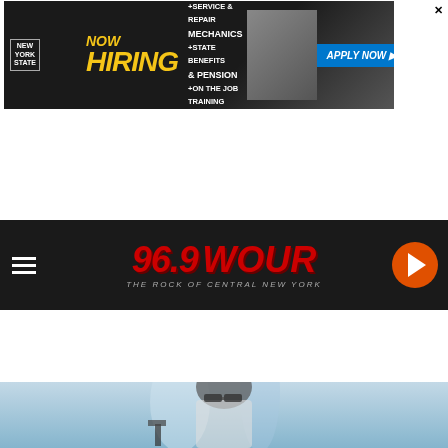[Figure (screenshot): Top banner advertisement for New York State Now Hiring - Service & Repair Mechanics, State Benefits & Pension, On the Job Training. Apply Now button.]
[Figure (logo): 96.9 WOUR radio station logo - The Rock of Central New York. Red stylized text on dark background with play button.]
LISTEN NOW  ULTIMATE CLASSIC ROCK
Share
Tweet
[Figure (screenshot): Ad banner: Numerous Positions Available! Be Empowered & Reach Your Potential! APPLY NOW! button]
[Figure (photo): Photo of a young woman in a laboratory wearing safety glasses, looking down at work]
[Figure (screenshot): Bottom banner ad for New York State Now Hiring - Snow Plow Driver, State Benefits, Seasonal, On the Job Training. Apply Now button.]